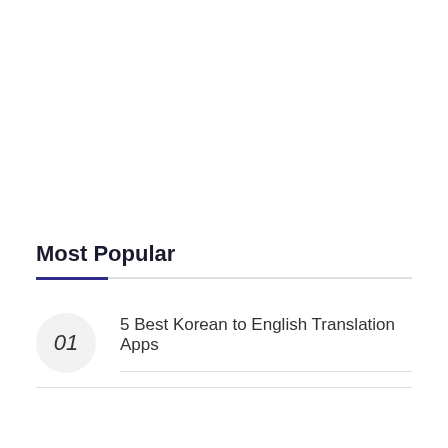Most Popular
01 5 Best Korean to English Translation Apps